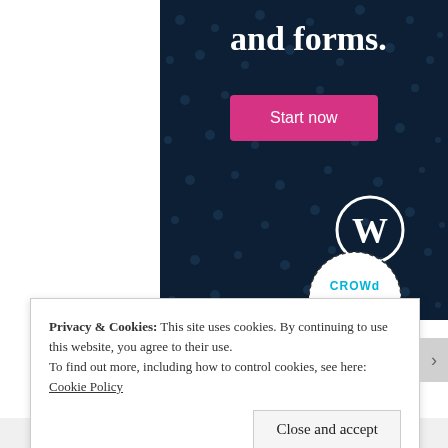and forms.
[Figure (screenshot): Dark navy background with dot pattern, 'Start now' pink button, WordPress logo (W in circle), and Crowdsignal logo (dotted circle badge)]
Privacy & Cookies: This site uses cookies. By continuing to use this website, you agree to their use.
To find out more, including how to control cookies, see here: Cookie Policy
Close and accept